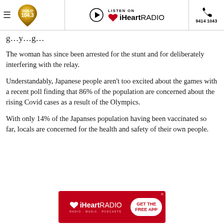GOLD 104.3 | LISTEN ON iHeartRADIO | 9414 1043
g… y… g…
The woman has since been arrested for the stunt and for deliberately interfering with the relay.
Understandably, Japanese people aren't too excited about the games with a recent poll finding that 86% of the population are concerned about the rising Covid cases as a result of the Olympics.
With only 14% of the Japanses population having been vaccinated so far, locals are concerned for the health and safety of their own people.
[Figure (logo): iHeartRADIO advertisement banner with 'GET THE FREE APP' button]